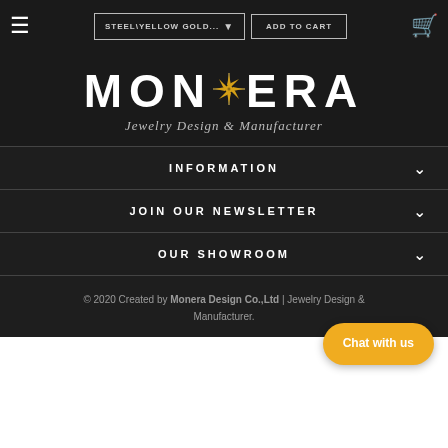STEEL\YELLOW GOLD... ▼  ADD TO CART
[Figure (logo): Monera Jewelry Design & Manufacturer logo — white text with gold star compass emblem on dark background]
INFORMATION
JOIN OUR NEWSLETTER
OUR SHOWROOM
© 2020 Created by Monera Design Co.,Ltd | Jewelry Design & Manufacturer.